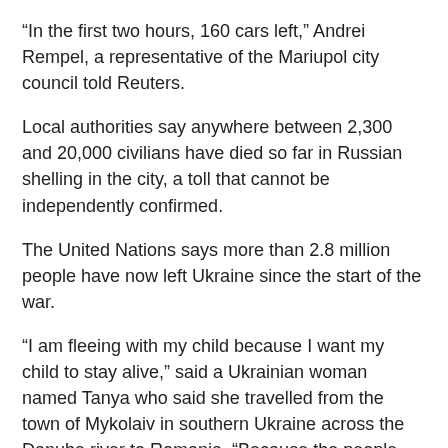“In the first two hours, 160 cars left,” Andrei Rempel, a representative of the Mariupol city council told Reuters.
Local authorities say anywhere between 2,300 and 20,000 civilians have died so far in Russian shelling in the city, a toll that cannot be independently confirmed.
The United Nations says more than 2.8 million people have now left Ukraine since the start of the war.
“I am fleeing with my child because I want my child to stay alive,” said a Ukrainian woman named Tanya who said she travelled from the town of Mykolaiv in southern Ukraine across the Danube river to Romania. “Because the people that are there now are Russians, Russian soldiers, and they kill children.”
Russia says it does not target civilians.